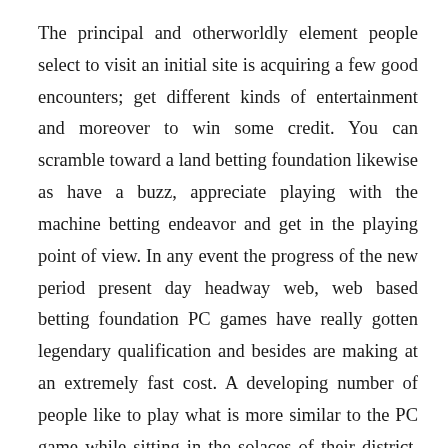The principal and otherworldly element people select to visit an initial site is acquiring a few good encounters; get different kinds of entertainment and moreover to win some credit. You can scramble toward a land betting foundation likewise as have a buzz, appreciate playing with the machine betting endeavor and get in the playing point of view. In any event the progress of the new period present day headway web, web based betting foundation PC games have really gotten legendary qualification and besides are making at an extremely fast cost. A developing number of people like to play what is more similar to the PC game while sitting in the solaces of their district. As opposed to proceeding with journey gigantic distances to play their #1 space games, they can right now rapidly and in addition steadily play them while remaining in the comforts of their area. The hot ways